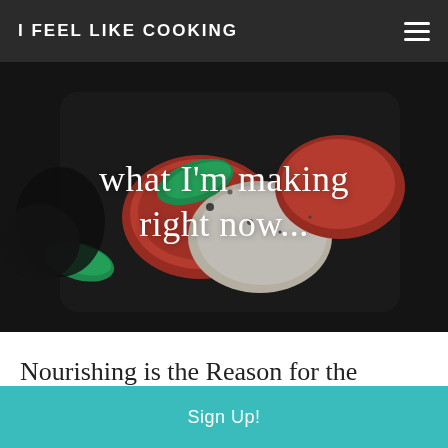I FEEL LIKE COOKING
[Figure (photo): Close-up photo of a caprese salad on a dark plate: layered red tomato slices, white mozzarella, and green basil leaves with balsamic glaze and black pepper, with white italic text overlay reading 'what I'm making right now...']
Nourishing is the Reason for the Season.
Sign Up!